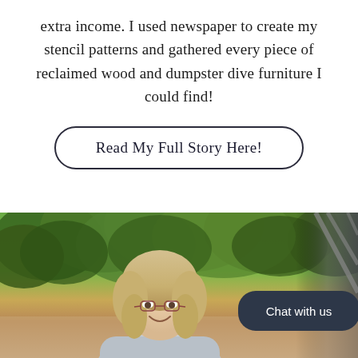extra income. I used newspaper to create my stencil patterns and gathered every piece of reclaimed wood and dumpster dive furniture I could find!
Read My Full Story Here!
[Figure (photo): Photo of a smiling blonde woman with glasses outdoors, with green trees in the background and a railing visible. A dark chat bubble overlay reads 'Chat with us'.]